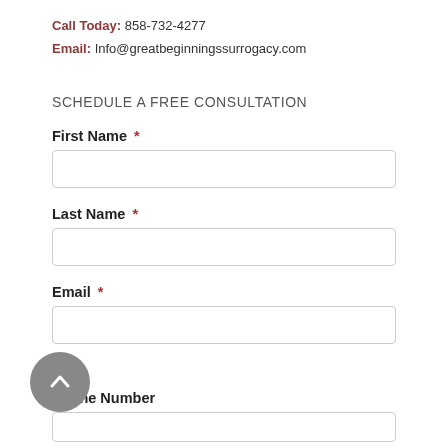Call Today: 858-732-4277
Email: Info@greatbeginningssurrogacy.com
SCHEDULE A FREE CONSULTATION
First Name *
Last Name *
Email *
Phone Number